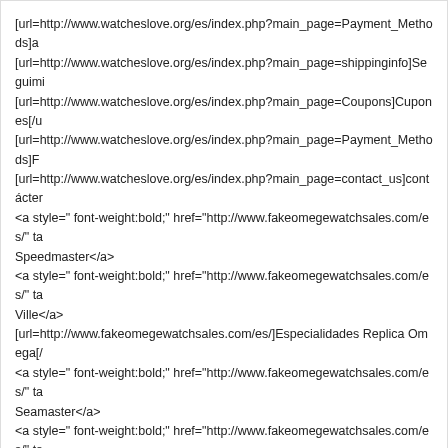[url=http://www.watcheslove.org/es/index.php?main_page=Payment_Methods]a
[url=http://www.watcheslove.org/es/index.php?main_page=shippinginfo]Seguimi
[url=http://www.watcheslove.org/es/index.php?main_page=Coupons]Cupones[/u
[url=http://www.watcheslove.org/es/index.php?main_page=Payment_Methods]F
[url=http://www.watcheslove.org/es/index.php?main_page=contact_us]contácter
<a style=" font-weight:bold;" href="http://www.fakeomegewatchsales.com/es/" ta
Speedmaster</a>
<a style=" font-weight:bold;" href="http://www.fakeomegewatchsales.com/es/" ta
Ville</a>
[url=http://www.fakeomegewatchsales.com/es/]Especialidades Replica Omega[/
<a style=" font-weight:bold;" href="http://www.fakeomegewatchsales.com/es/" ta
Seamaster</a>
<a style=" font-weight:bold;" href="http://www.fakeomegewatchsales.com/es/" ta
Constellation</a>
[url=http://www.watcheslove.org/es/omega-relojes-reloj-de-cuarzo-41707600-se
112.html][/url]
Copyright © 2014 Todos los derechos reservados .
[b][url=http://www.watcheslove.org/es/]omega relojes a la venta[/url][/b]
[b][url=http://www.watcheslove.org/es/]relojes Omega réplica[/url][/b]
ejean ejean
Тет, 29/05/2019 - 22:02